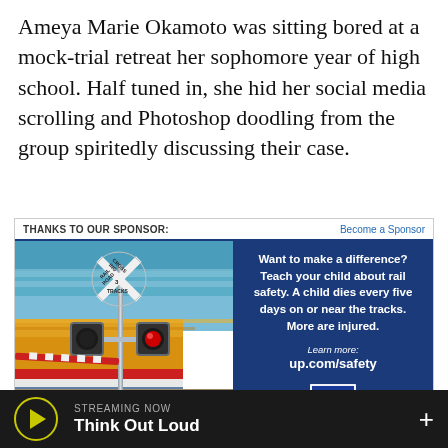Ameya Marie Okamoto was sitting bored at a mock-trial retreat her sophomore year of high school. Half tuned in, she hid her social media scrolling and Photoshop doodling from the group spiritedly discussing their case.
[Figure (infographic): Sponsor advertisement for Union Pacific rail safety. Left side shows a photograph of a railroad crossing sign with a yellow train passing at speed, signal lights with red light illuminated, and a gate arm. Right side on dark blue background reads: 'Want to make a difference? Teach your child about rail safety. A child dies every five days on or near the tracks. More are injured. Learn more: up.com/safety' with the Union Pacific shield logo below.]
THANKS TO OUR SPONSOR:   Become a Sponsor
STREAMING NOW  Think Out Loud